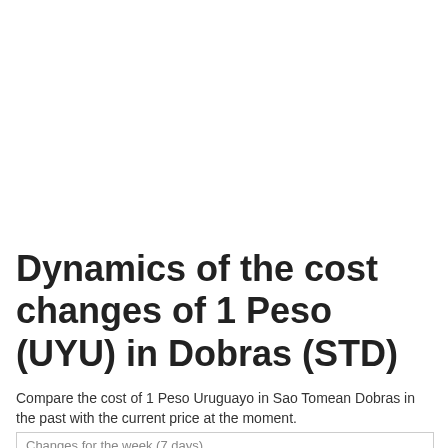Dynamics of the cost changes of 1 Peso (UYU) in Dobras (STD)
Compare the cost of 1 Peso Uruguayo in Sao Tomean Dobras in the past with the current price at the moment.
| Changes for the week (7 days) |
| --- |